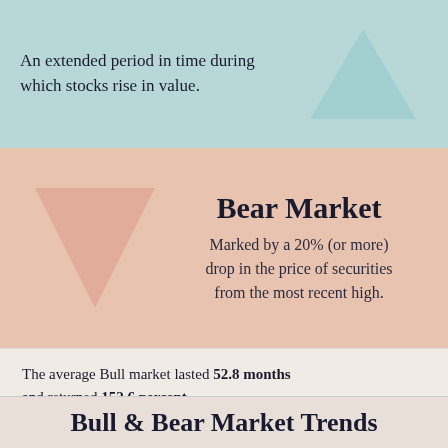An extended period in time during which stocks rise in value.
Bear Market
Marked by a 20% (or more) drop in the price of securities from the most recent high.
The average Bull market lasted 52.8 months and returned 152.6 percent.
The average Bear market lasted only 11.3 months and lost 32.1 percent.
Bull & Bear Market Trends